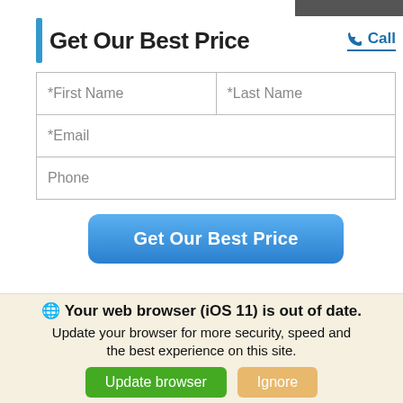Get Our Best Price
☎ Call
[Figure (screenshot): Web form with fields: *First Name, *Last Name, *Email, Phone]
Get Our Best Price
Save time...
We use cookies to optimize our website and our service.
Cookie Policy - Privacy Statement
Your web browser (iOS 11) is out of date. Update your browser for more security, speed and the best experience on this site.
Update browser
Ignore